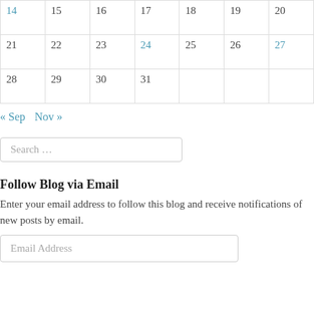| 14 | 15 | 16 | 17 | 18 | 19 | 20 |
| 21 | 22 | 23 | 24 | 25 | 26 | 27 |
| 28 | 29 | 30 | 31 |  |  |  |
« Sep   Nov »
Search …
Follow Blog via Email
Enter your email address to follow this blog and receive notifications of new posts by email.
Email Address